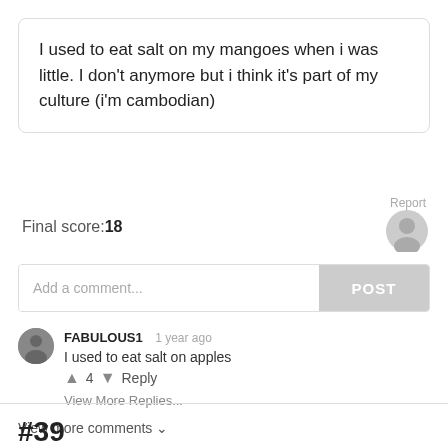I used to eat salt on my mangoes when i was little. I don’t anymore but i think it’s part of my culture (i’m cambodian)
Report
Final score:18
Add a comment...
POST
FABULOUS1  1 year ago
I used to eat salt on apples
↑ 4 ↓ Reply
View More Replies...
View more comments ∨
#39